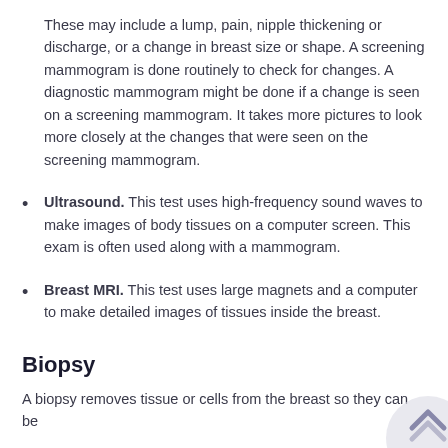These may include a lump, pain, nipple thickening or discharge, or a change in breast size or shape. A screening mammogram is done routinely to check for changes. A diagnostic mammogram might be done if a change is seen on a screening mammogram. It takes more pictures to look more closely at the changes that were seen on the screening mammogram.
Ultrasound. This test uses high-frequency sound waves to make images of body tissues on a computer screen. This exam is often used along with a mammogram.
Breast MRI.  This test uses large magnets and a computer to make detailed images of tissues inside the breast.
Biopsy
A biopsy removes tissue or cells from the breast so they can be